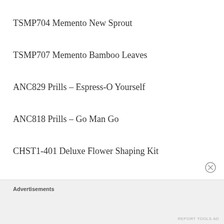TSMP704 Memento New Sprout
TSMP707 Memento Bamboo Leaves
ANC829 Prills – Espress-O Yourself
ANC818 Prills – Go Man Go
CHST1-401 Deluxe Flower Shaping Kit
159723 Art Glitter Dries Clear Glue
Advertisements